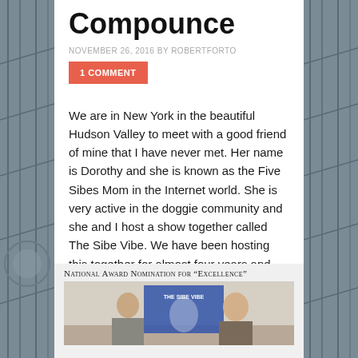Compounce
NOVEMBER 26, 2016 BY ROBERTFORTO
1 COMMENT
We are in New York in the beautiful Hudson Valley to meet with a good friend of mine that I have never met. Her name is Dorothy and she is known as the Five Sibes Mom in the Internet world. She is very active in the doggie community and she and I host a show together called The Sibe Vibe. We have been hosting this together for almost four years and have not met until today.
National Award Nomination for “Excellence”
[Figure (photo): Photo of two people in front of a The Sibe Vibe banner/award display]